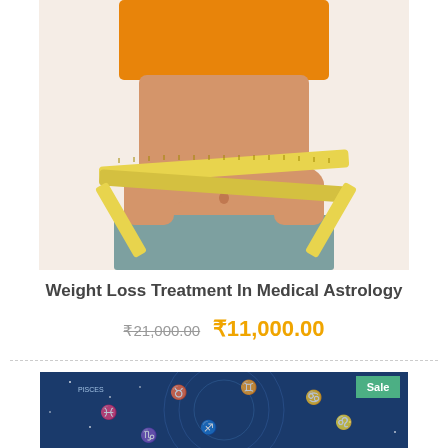[Figure (photo): Woman holding a yellow measuring tape across her midriff, wearing orange crop top and grey pants, shown from chin to hips against white background]
Weight Loss Treatment In Medical Astrology
₹21,000.00 ₹11,000.00
[Figure (photo): Zodiac astrology wheel with blue starry background showing astrological signs, with a green 'Sale' badge in upper right corner]